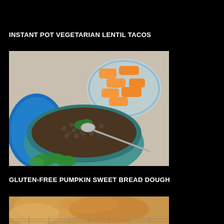INSTANT POT VEGETARIAN LENTIL TACOS
[Figure (photo): Photo of lentil taco filling in a teal/blue decorative bowl with a spoon, garnished with cilantro. Behind it is a glass container with chopped orange carrots. A blue plastic lid is visible on the left. Items sit on a light marble surface.]
GLUTEN-FREE PUMPKIN SWEET BREAD DOUGH
[Figure (photo): Partial photo of gluten-free pumpkin sweet bread dough, showing golden-brown baked bread on a cooling rack.]